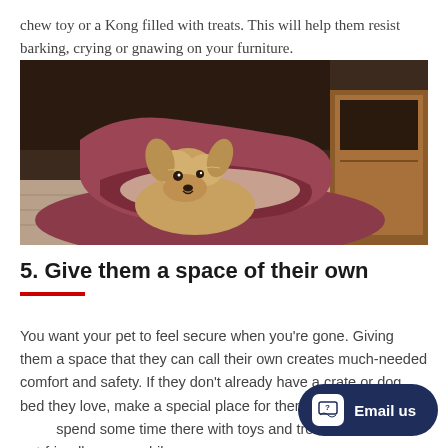chew toy or a Kong filled with treats. This will help them resist barking, crying or gnawing on your furniture.
[Figure (photo): A small terrier dog resting its head inside a red/maroon soft dog bed, photographed indoors on a tiled floor with wooden furniture in the background.]
5. Give them a space of their own
You want your pet to feel secure when you're gone. Giving them a space that they can call their own creates much-needed comfort and safety. If they don't already have a crate or dog bed they love, make a special place for them before you go. Let them spend some time there with toys and treats. If they stay in a crate or pet-friendly space while you were away, encourage